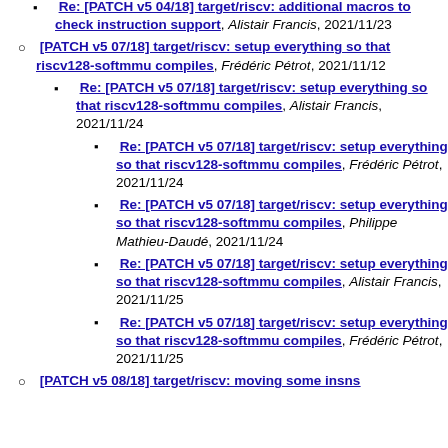Re: [PATCH v5 04/18] target/riscv: additional macros to check instruction support, Alistair Francis, 2021/11/23
[PATCH v5 07/18] target/riscv: setup everything so that riscv128-softmmu compiles, Frédéric Pétrot, 2021/11/12
Re: [PATCH v5 07/18] target/riscv: setup everything so that riscv128-softmmu compiles, Alistair Francis, 2021/11/24
Re: [PATCH v5 07/18] target/riscv: setup everything so that riscv128-softmmu compiles, Frédéric Pétrot, 2021/11/24
Re: [PATCH v5 07/18] target/riscv: setup everything so that riscv128-softmmu compiles, Philippe Mathieu-Daudé, 2021/11/24
Re: [PATCH v5 07/18] target/riscv: setup everything so that riscv128-softmmu compiles, Alistair Francis, 2021/11/25
Re: [PATCH v5 07/18] target/riscv: setup everything so that riscv128-softmmu compiles, Frédéric Pétrot, 2021/11/25
[PATCH v5 08/18] target/riscv: moving some insns...